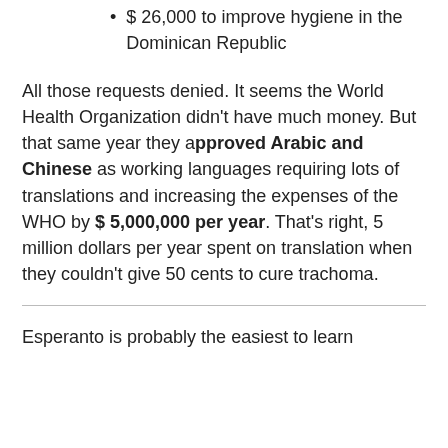$ 26,000 to improve hygiene in the Dominican Republic
All those requests denied. It seems the World Health Organization didn't have much money. But that same year they approved Arabic and Chinese as working languages requiring lots of translations and increasing the expenses of the WHO by $ 5,000,000 per year. That's right, 5 million dollars per year spent on translation when they couldn't give 50 cents to cure trachoma.
Esperanto is probably the easiest to learn